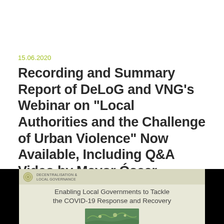15.06.2020
Recording and Summary Report of DeLoG and VNG's Webinar on "Local Authorities and the Challenge of Urban Violence" Now Available, Including Q&A Video by Mayor Óscar Escobar
[Figure (screenshot): Screenshot of a webinar slide showing the DeLoG (Decentralisation & Local Governance) logo and text 'Enabling Local Governments to Tackle the COVID-19 Response and Recovery' with a map graphic below, flanked by black bars on left and right.]